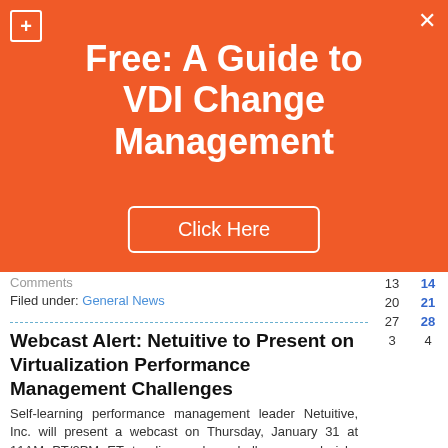[Figure (infographic): Orange promotional banner overlay with title 'Free: A Guide to VDI Change Management' and a 'Click Here' button. Has a plus icon top-left and close (X) icon top-right.]
Comments
Filed under: General News
Webcast Alert: Netuitive to Present on Virtualization Performance Management Challenges
Self-learning performance management leader Netuitive, Inc. will present a webcast on Thursday, January 31 at 11AM PT/2PM ET to discuss key challenges and risks associated with virtualization deployments. The discussion will focus on the complexity that VM's (Virtual Machines) present in terms of ma... Read More...